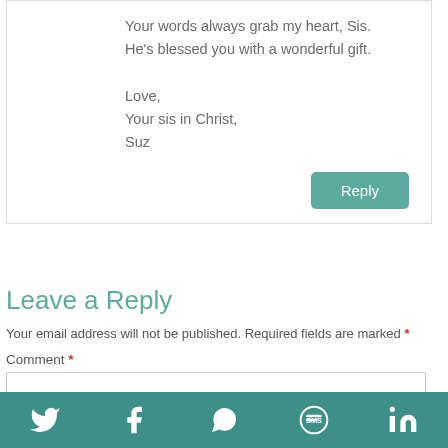Your words always grab my heart, Sis. He's blessed you with a wonderful gift.

Love,
Your sis in Christ,
Suz
Leave a Reply
Your email address will not be published. Required fields are marked *
Comment *